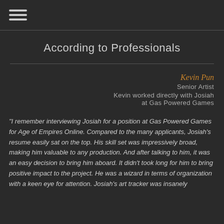☰
According to Professionals
Kevin Pun
Senior Artist
Kevin worked directly with Josiah at Gas Powered Games
"I remember interviewing Josiah for a position at Gas Powered Games for Age of Empires Online. Compared to the many applicants, Josiah's resume easily sat on the top. His skill set was impressively broad, making him valuable to any production. And after talking to him, it was an easy decision to bring him aboard. It didn't took long for him to bring positive impact to the project. He was a wizard in terms of organization with a keen eye for attention. Josiah's art tracker was insanely...